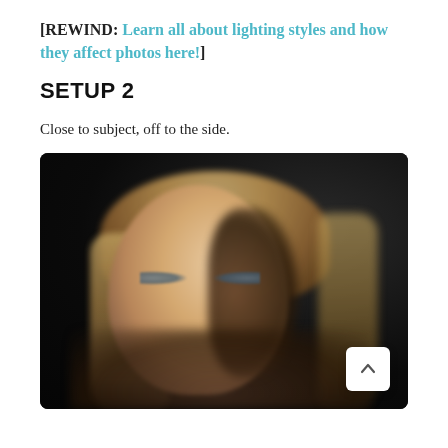[REWIND: Learn all about lighting styles and how they affect photos here!]
SETUP 2
Close to subject, off to the side.
[Figure (photo): Portrait photograph of a young woman with blonde hair against a dark background, lit from one side creating dramatic side lighting effect]